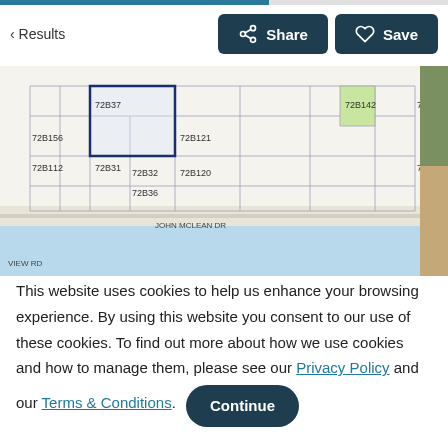< Results | Share | Save
[Figure (map): Cadastral map showing land parcels labeled 72B37, 72B156, 72B112, 72B31, 72B121, 72B32, 72B36, 72B120, 72B142, 72B11 near VIEW RD and JOHN MCLEAN DR. One parcel (72B37) is highlighted with a dark blue border. A body of water (blue) is visible at the bottom. A partial photo of a natural scene appears at the right edge.]
This website uses cookies to help us enhance your browsing experience. By using this website you consent to our use of these cookies. To find out more about how we use cookies and how to manage them, please see our Privacy Policy and our Terms & Conditions.
Continue